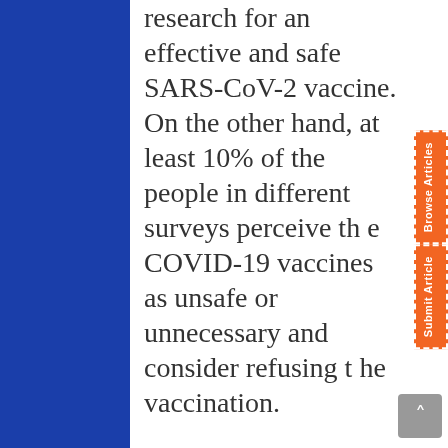research for an effective and safe SARS-CoV-2 vaccine.

On the other hand, at least 10% of the people in different surveys perceive the COVID-19 vaccines as unsafe or unnecessary and consider refusing the vaccination.